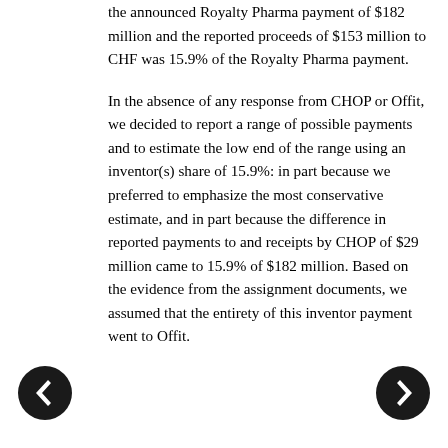the announced Royalty Pharma payment of $182 million and the reported proceeds of $153 million to CHF was 15.9% of the Royalty Pharma payment.
In the absence of any response from CHOP or Offit, we decided to report a range of possible payments and to estimate the low end of the range using an inventor(s) share of 15.9%: in part because we preferred to emphasize the most conservative estimate, and in part because the difference in reported payments to and receipts by CHOP of $29 million came to 15.9% of $182 million. Based on the evidence from the assignment documents, we assumed that the entirety of this inventor payment went to Offit.